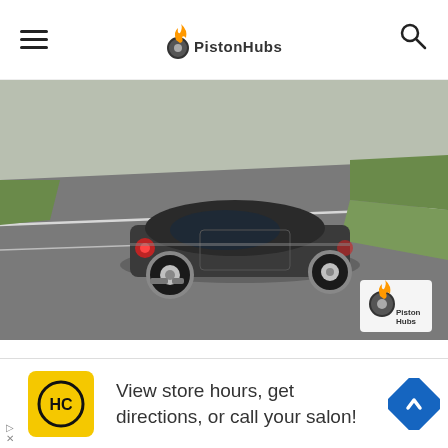PistonHubs
[Figure (photo): A dark grey MINI Cooper hatchback driving on a road, viewed from the rear three-quarter angle, with green grass and road in background. PistonHubs logo watermark in bottom right corner.]
When it's time to take to the road, the MINI's maturity becomes even more apparent. Here again we are sed by the soundproofing of the cabin, much more
[Figure (infographic): Advertisement banner: HC salon logo, text 'View store hours, get directions, or call your salon!' with navigation direction icon]